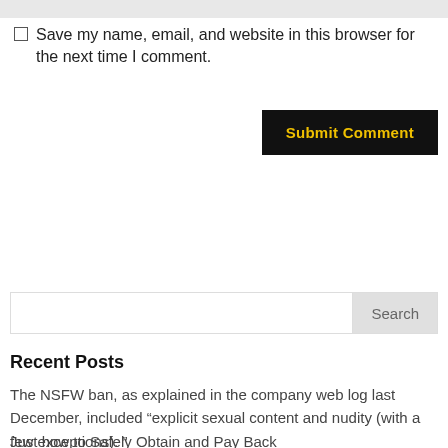Save my name, email, and website in this browser for the next time I comment.
Submit Comment
Search
Recent Posts
The NSFW ban, as explained in the company web log last December, included “explicit sexual content and nudity (with a few exceptions). ”
Just how to Safely Obtain and Pay Back